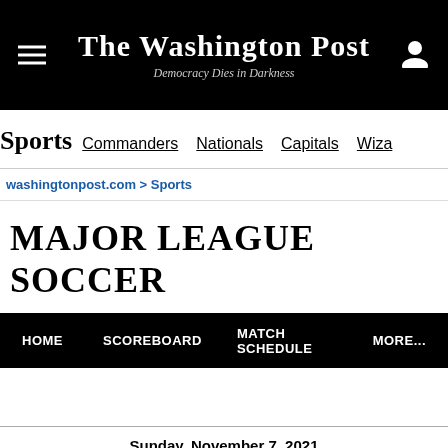The Washington Post — Democracy Dies in Darkness
Sports  Commanders  Nationals  Capitals  Wiza
washingtonpost.com > Sports
MAJOR LEAGUE SOCCER
HOME  SCOREBOARD  MATCH SCHEDULE  MORE...
Sunday, November 7, 2021
Full Time